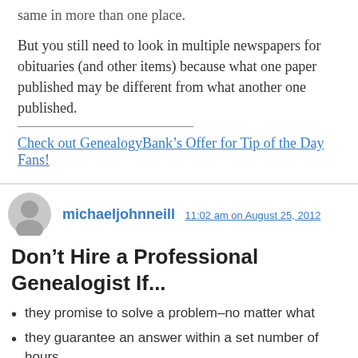same in more than one place.
But you still need to look in multiple newspapers for obituaries (and other items) because what one paper published may be different from what another one published.
Check out GenealogyBank's Offer for Tip of the Day Fans!
michaeljohnneill 11:02 am on August 25, 2012
Don't Hire a Professional Genealogist If...
they promise to solve a problem–no matter what
they guarantee an answer within a set number of hours
they refuse to give any physical address or references